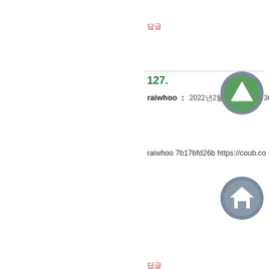답글
127.
raiwhoo : 2022년2월16일 AM 07:36
raiwhoo 7b17bfd26b https://coub.co
답글
128.
esiraw : 2022년2월16일 AM
esiraw 7b17bfd26b https://trello.com
답글
[Figure (illustration): Green circle with upward arrow icon]
[Figure (illustration): Gray circle with white house icon]
[Figure (illustration): Gray circle with red person/user icon]
[Figure (illustration): Gray circle with purple shop/store icon]
[Figure (illustration): Gray circle with yellow star+plus icon]